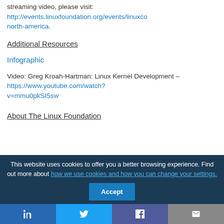streaming video, please visit: http://events.linuxfoundation.org/events/linuxcon-north-america.
Additional Resources
Infographic
Video: Greg Kroah-Hartman: Linux Kernel Development – https://www.youtube.com/watch?v=mmu0pkSI5sw
About The Linux Foundation
This website uses cookies to offer you a better browsing experience. Find out more about how we use cookies and how you can change your settings.
Accept